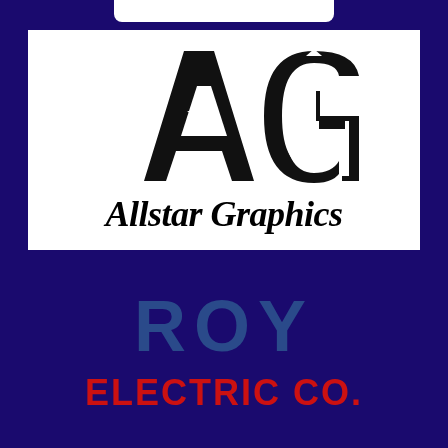[Figure (logo): Allstar Graphics logo: stylized 'AG' monogram in black and white with a star, above bold italic text 'Allstar Graphics']
ROY
ELECTRIC CO.